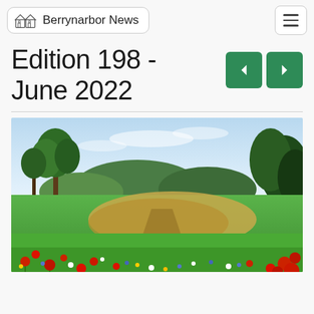Berrynarbor News
Edition 198 - June 2022
[Figure (illustration): Watercolour-style painting of a sunny English countryside meadow with wildflowers (poppies, cornflowers, daisies) in the foreground, a path through a wheat field in the middle ground, rolling green hills and trees in the background under a blue sky.]